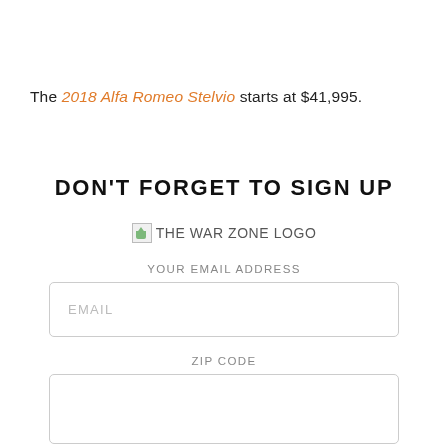The 2018 Alfa Romeo Stelvio starts at $41,995.
DON'T FORGET TO SIGN UP
[Figure (logo): The War Zone logo (broken image icon with text 'THE WAR ZONE LOGO')]
YOUR EMAIL ADDRESS
EMAIL (placeholder)
ZIP CODE
(empty zip code input box)